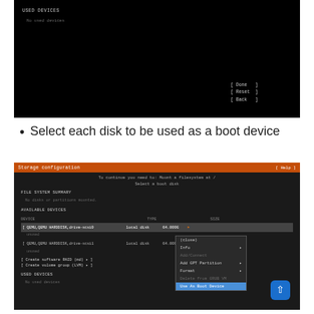[Figure (screenshot): Terminal/installer screen showing USED DEVICES section with 'No used devices' text and buttons: [ Done ], [ Reset ], [ Back ] at the bottom right on black background.]
Select each disk to be used as a boot device
[Figure (screenshot): Storage configuration installer screen with orange title bar showing 'Storage configuration' and '[ Help ]'. Body shows: 'To continue you need to: Mount a filesystem at / Select a boot disk', FILE SYSTEM SUMMARY with 'No disks or partitions mounted.', AVAILABLE DEVICES section with two QEMU HARDDISK drives (local disk, 64.000G each), Create software RAID and Create volume group options, USED DEVICES with 'No used devices'. A context menu is open on the first drive showing options: (close), Info, Add GPT Partition, Format, Delete from GRUB VM, Use As Boot Device (highlighted in blue).]